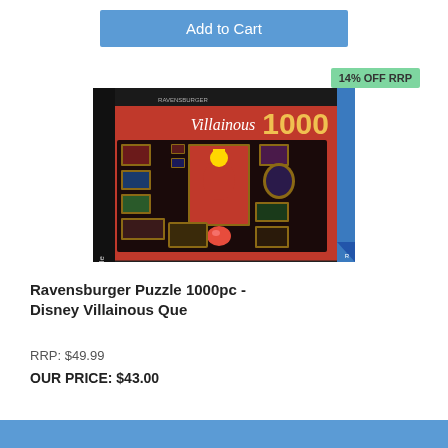Add to Cart
14% OFF RRP
[Figure (photo): Ravensburger Disney Villainous Queen of Hearts 1000pc puzzle box, showing Disney villains artwork with the Queen of Hearts prominently featured.]
Ravensburger Puzzle 1000pc - Disney Villainous Que
RRP: $49.99
OUR PRICE: $43.00